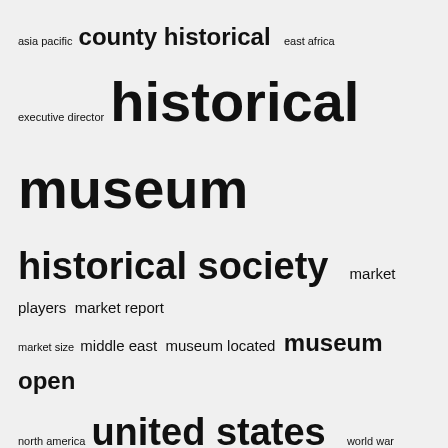[Figure (infographic): Tag cloud with terms of varying sizes: asia pacific, county historical, east africa, executive director, historical museum (largest), historical society, market players, market report, market size, middle east, museum located, museum open, north america, united states, world war]
Recent Posts
Same-day Loan: Should I Consider Getting It? | Payday Champion
Chelsea Area Historical Museum events to highlight local history
► The Deschutes Historical Museum will host its first antique fair in over 20 years
Author conference and book signing | Clarke l Historical Museum |